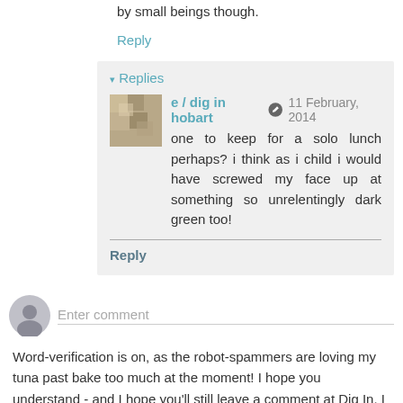by small beings though.
Reply
▾ Replies
e / dig in hobart  ✏  11 February, 2014
one to keep for a solo lunch perhaps? i think as i child i would have screwed my face up at something so unrelentingly dark green too!
Reply
Enter comment
Word-verification is on, as the robot-spammers are loving my tuna past bake too much at the moment! I hope you understand - and I hope you'll still leave a comment at Dig In. I love hearing your thoughts, knowing someone is